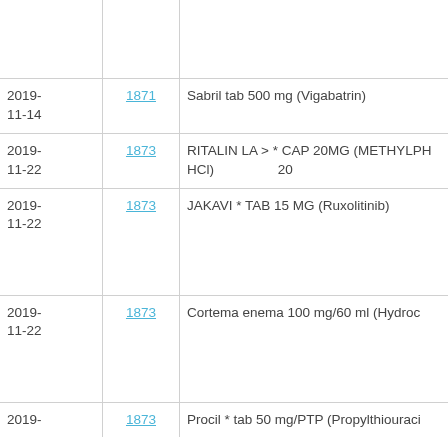| Date | ID | Description |
| --- | --- | --- |
|  |  |  |
| 2019-11-14 | 1871 | Sabril tab 500 mg (Vigabatrin) |
| 2019-11-22 | 1873 | RITALIN LA > * CAP 20MG (METHYLPH HCl)  20 |
| 2019-11-22 | 1873 | JAKAVI * TAB 15 MG (Ruxolitinib) |
| 2019-11-22 | 1873 | Cortema enema 100 mg/60 ml (Hydroc |
| 2019- | 1873 | Procil * tab 50 mg/PTP (Propylthiouraci |